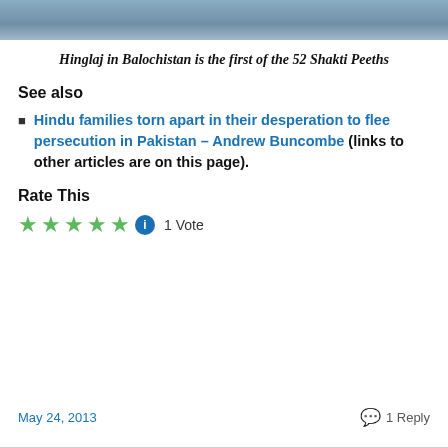[Figure (photo): Partial photo showing top of a person in a blue garment, cropped at the top of the page]
Hinglaj in Balochistan is the first of the 52 Shakti Peeths
See also
Hindu families torn apart in their desperation to flee persecution in Pakistan – Andrew Buncombe (links to other articles are on this page).
Rate This
★★★★★ ⓘ 1 Vote
May 24, 2013   1 Reply